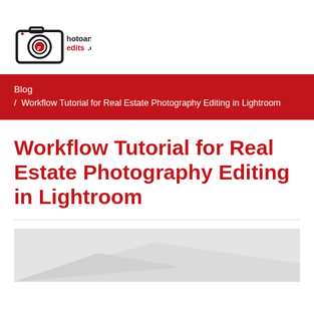[Figure (logo): Photoandvideo edits.com logo with camera icon]
Blog / Workflow Tutorial for Real Estate Photography Editing in Lightroom
Workflow Tutorial for Real Estate Photography Editing in Lightroom
[Figure (photo): Partial view of a real estate interior photo with light tones]